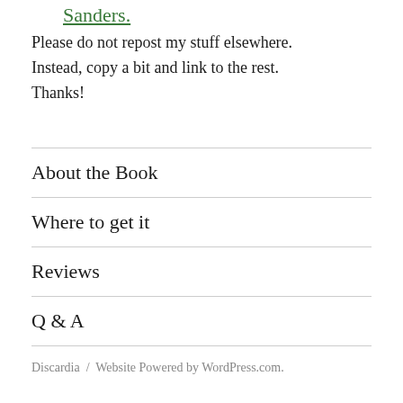Sanders.
Please do not repost my stuff elsewhere. Instead, copy a bit and link to the rest. Thanks!
About the Book
Where to get it
Reviews
Q & A
Discardia  /  Website Powered by WordPress.com.